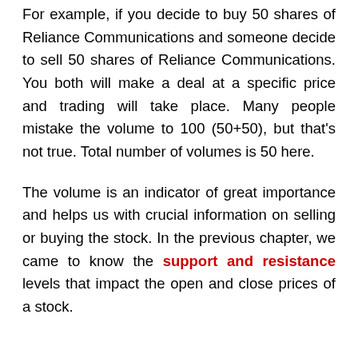For example, if you decide to buy 50 shares of Reliance Communications and someone decide to sell 50 shares of Reliance Communications. You both will make a deal at a specific price and trading will take place. Many people mistake the volume to 100 (50+50), but that's not true. Total number of volumes is 50 here.
The volume is an indicator of great importance and helps us with crucial information on selling or buying the stock. In the previous chapter, we came to know the support and resistance levels that impact the open and close prices of a stock.